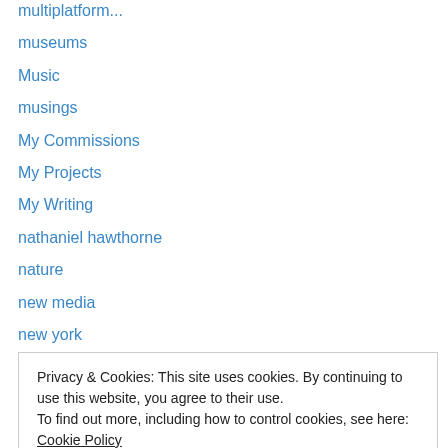multiplatform...
museums
Music
musings
My Commissions
My Projects
My Writing
nathaniel hawthorne
nature
new media
new york
novels
numbers
open content
Privacy & Cookies: This site uses cookies. By continuing to use this website, you agree to their use. To find out more, including how to control cookies, see here: Cookie Policy
philosophy